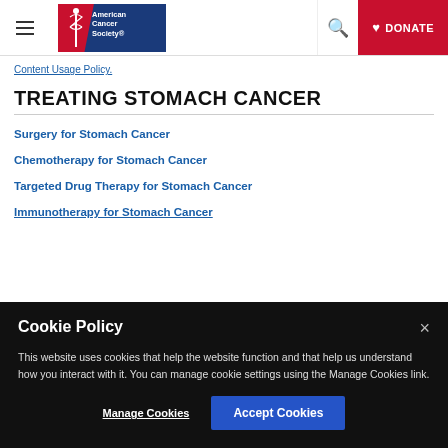American Cancer Society – Site Header with navigation, search, and Donate button
Content Usage Policy.
TREATING STOMACH CANCER
Surgery for Stomach Cancer
Chemotherapy for Stomach Cancer
Targeted Drug Therapy for Stomach Cancer
Immunotherapy for Stomach Cancer
Cookie Policy

This website uses cookies that help the website function and that help us understand how you interact with it. You can manage cookie settings using the Manage Cookies link.

[Manage Cookies]  [Accept Cookies]